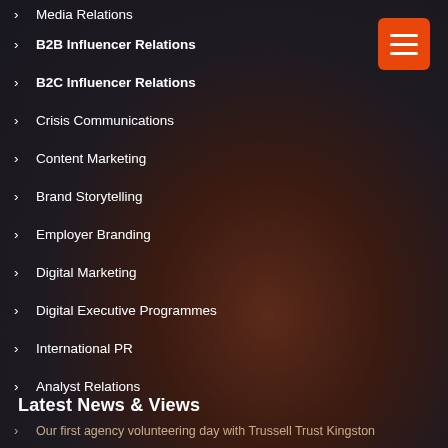Media Relations
B2B Influencer Relations
B2C Influencer Relations
Crisis Communications
Content Marketing
Brand Storytelling
Employer Branding
Digital Marketing
Digital Executive Programmes
International PR
Analyst Relations
Latest News & Views
Our first agency volunteering day with Trussell Trust Kingston